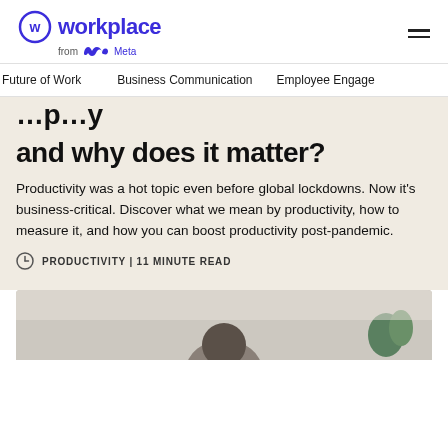Workplace from Meta
Future of Work | Business Communication | Employee Engage
and why does it matter?
Productivity was a hot topic even before global lockdowns. Now it's business-critical. Discover what we mean by productivity, how to measure it, and how you can boost productivity post-pandemic.
PRODUCTIVITY | 11 MINUTE READ
[Figure (photo): A person with curly dark hair photographed from above, partial view, with a green plant visible in the background, warm beige background]